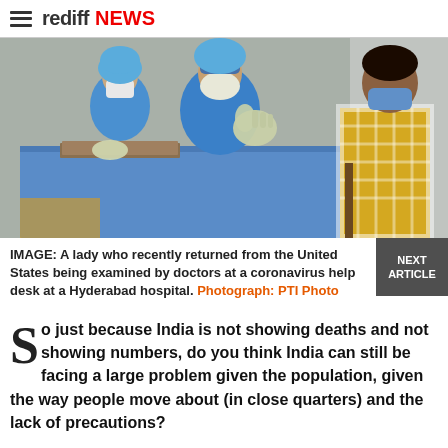rediff NEWS
[Figure (photo): Two doctors in blue protective gowns and N95 masks seated at a table with blue covering, examining a patient. A third person in yellow checkered shirt and blue mask is seated facing them. Medical examination scene at a coronavirus help desk.]
IMAGE: A lady who recently returned from the United States being examined by doctors at a coronavirus help desk at a Hyderabad hospital. Photograph: PTI Photo
So just because India is not showing deaths and not showing numbers, do you think India can still be facing a large problem given the population, given the way people move about (in close quarters) and the lack of precautions?